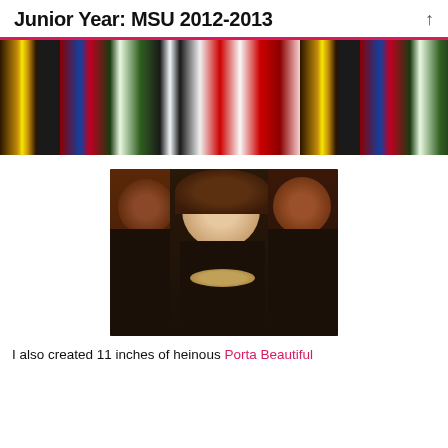Junior Year: MSU 2012-2013
[Figure (photo): Cropped photo showing people wearing ugly Christmas sweaters, torsos only visible]
[Figure (photo): Three young women posing together for a selfie/photo, smiling, wearing black outfits, one with a statement necklace, taken in a dark/dimly lit setting]
I also created 11 inches of heinous Porta Beautiful